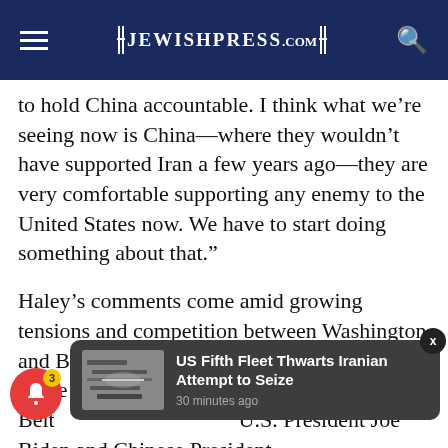The Jewish Press
to hold China accountable. I think what we're seeing now is China—where they wouldn't have supported Iran a few years ago—they are very comfortable supporting any enemy to the United States now. We have to start doing something about that."
Haley's comments come amid growing tensions and competition between Washington and Beijing in a number of realms, including in the Middle East, where C... its Belt... U.S. President Joe Biden and Chinese President
[Figure (screenshot): Notification popup card showing thumbnail of military image with text 'US Fifth Fleet Thwarts Iranian Attempt to Seize' and '30 minutes ago']